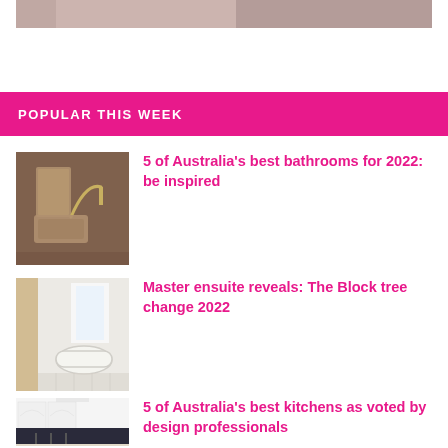[Figure (photo): Partial top image of a bathroom or interior, cropped at top]
POPULAR THIS WEEK
[Figure (photo): Bathroom with stone/travertine sink basin and gold arc faucet]
5 of Australia's best bathrooms for 2022: be inspired
[Figure (photo): White master ensuite bathroom with freestanding tub and wooden accents]
Master ensuite reveals: The Block tree change 2022
[Figure (photo): Modern white kitchen with arched cabinetry and dark kitchen island]
5 of Australia's best kitchens as voted by design professionals